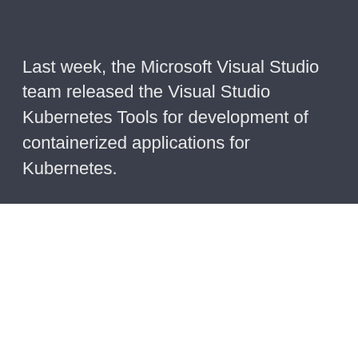Last week, the Microsoft Visual Studio team released the Visual Studio Kubernetes Tools for development of containerized applications for Kubernetes.